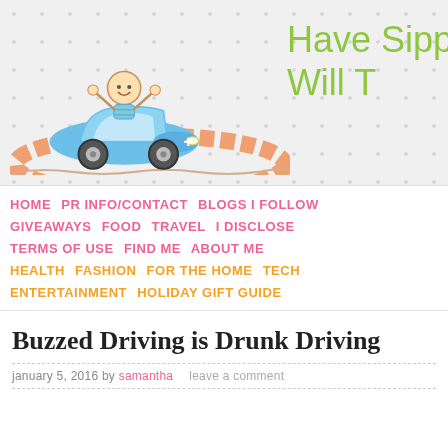[Figure (illustration): Blog header banner with polka dot background, cartoon stick figure child in blue car on orange bridge, and 'Have Sippy Will Travel' text in green handwritten font]
HOME  PR INFO/CONTACT  BLOGS I FOLLOW  GIVEAWAYS  FOOD  TRAVEL  I DISCLOSE  TERMS OF USE  FIND ME  ABOUT ME  HEALTH  FASHION  FOR THE HOME  TECH  ENTERTAINMENT  HOLIDAY GIFT GUIDE
Buzzed Driving is Drunk Driving
january 5, 2016 by samantha   leave a comment